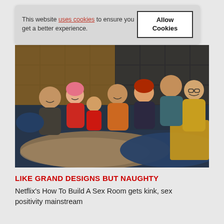This website uses cookies to ensure you get a better experience. [Allow Cookies button]
[Figure (photo): Group of people laughing and lounging together on a large dark blue bed with fur blankets, against a dark padded wall background. Six adults including an older man in a yellow hoodie, a woman with pink hair, and others.]
LIKE GRAND DESIGNS BUT NAUGHTY
Netflix's How To Build A Sex Room gets kink, sex positivity mainstream